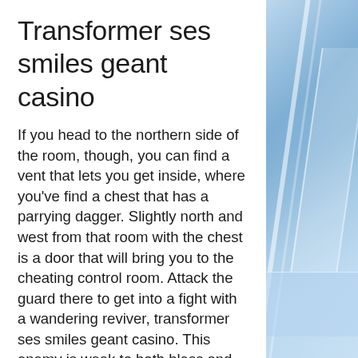Transformer ses smiles geant casino
If you head to the northern side of the room, though, you can find a vent that lets you get inside, where you've find a chest that has a parrying dagger. Slightly north and west from that room with the chest is a door that will bring you to the cheating control room. Attack the guard there to get into a fight with a wandering reviver, transformer ses smiles geant casino. This enemy is weak to both bless and wind skills, so it should go down without much trouble at all. Exit the backroom area and go to the marked dice room, where you will want to bet on the "11-18" option four times in a row.
Spins expire after 30 days, transformer ses smiles geant casino.
These are general strategies that will help out any slots players on their quest to hit the
[Figure (photo): Blue-tinted glass building facade with reflective panels and diagonal structural lines on the right side of the page]